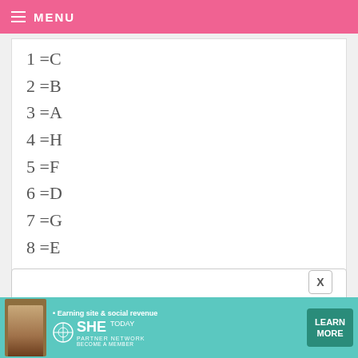≡ MENU
1 =C
2 =B
3 =A
4 =H
5 =F
6 =D
7 =G
8 =E
newest
[Figure (infographic): Advertisement banner: SHE Partner Network — Earning site & social revenue. LEARN MORE button.]